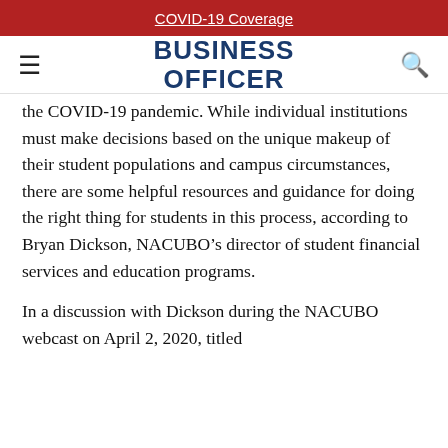COVID-19 Coverage
BUSINESS OFFICER
the COVID-19 pandemic. While individual institutions must make decisions based on the unique makeup of their student populations and campus circumstances, there are some helpful resources and guidance for doing the right thing for students in this process, according to Bryan Dickson, NACUBO’s director of student financial services and education programs.
In a discussion with Dickson during the NACUBO webcast on April 2, 2020, titled